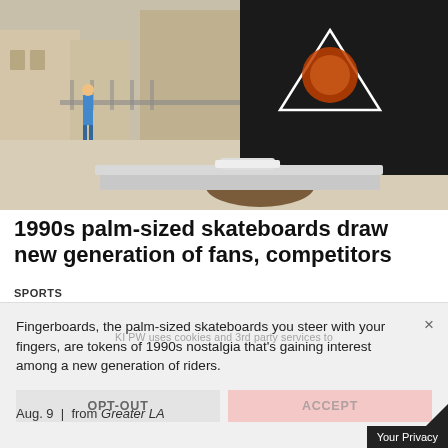[Figure (photo): Person wearing a black graphic t-shirt with a triangle/planet design, holding fingers near a fingerboard (miniature skateboard) on a ledge, with urban background.]
1990s palm-sized skateboards draw new generation of fans, competitors
SPORTS
Fingerboards, the palm-sized skateboards you steer with your fingers, are tokens of 1990s nostalgia that's gaining interest among a new generation of riders.
OPT-OUT
ACCEPT
Aug. 9  |  from Greater LA
Your Privacy